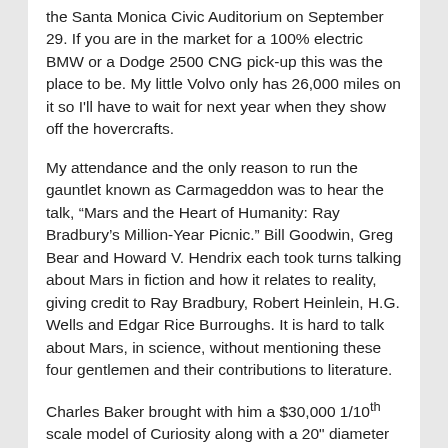the Santa Monica Civic Auditorium on September 29. If you are in the market for a 100% electric BMW or a Dodge 2500 CNG pick-up this was the place to be. My little Volvo only has 26,000 miles on it so I'll have to wait for next year when they show off the hovercrafts.
My attendance and the only reason to run the gauntlet known as Carmageddon was to hear the talk, “Mars and the Heart of Humanity: Ray Bradbury’s Million-Year Picnic.” Bill Goodwin, Greg Bear and Howard V. Hendrix each took turns talking about Mars in fiction and how it relates to reality, giving credit to Ray Bradbury, Robert Heinlein, H.G. Wells and Edgar Rice Burroughs. It is hard to talk about Mars, in science, without mentioning these four gentlemen and their contributions to literature.
Charles Baker brought with him a $30,000 1/10th scale model of Curiosity along with a 20” diameter wheel from the sister rover that is used to test possible maneuvers here on earth before they try them on the Red Planet.